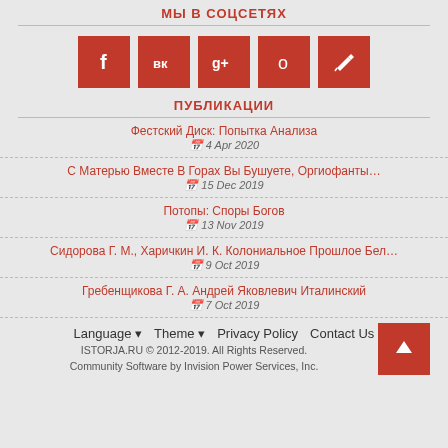МЫ В СОЦСЕТЯХ
[Figure (infographic): Five red square social media icons: Facebook (f), VKontakte (VK), Google+ (g+), Odnoklassniki (o), and an edit/pen icon]
ПУБЛИКАЦИИ
Фестский Диск: Попытка Анализа
4 Apr 2020
С Матерью Вместе В Горах Вы Бушуете, Оргиофанты…
15 Dec 2019
Потопы: Споры Богов
13 Nov 2019
Сидорова Г. М., Харичкин И. К. Колониальное Прошлое Бел…
9 Oct 2019
Гребенщикова Г. А. Андрей Яковлевич Италинский
7 Oct 2019
Language ▾   Theme ▾   Privacy Policy   Contact Us
ISTORJA.RU © 2012-2019. All Rights Reserved.
Community Software by Invision Power Services, Inc.